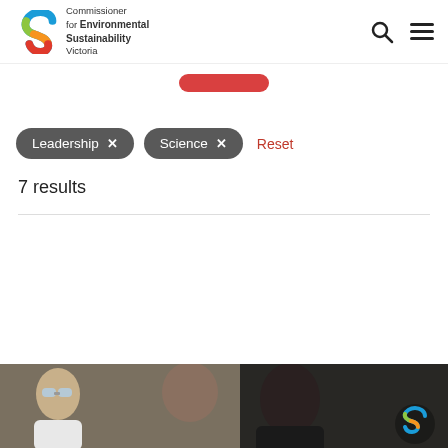[Figure (logo): Commissioner for Environmental Sustainability Victoria logo with colourful S-shaped icon]
[Figure (other): Partially visible red rounded button at the top center]
Leadership ×
Science ×
Reset
7 results
[Figure (photo): Photo of people including someone wearing safety goggles in a lab-like setting, partially visible at bottom of page. CES logo visible bottom right.]